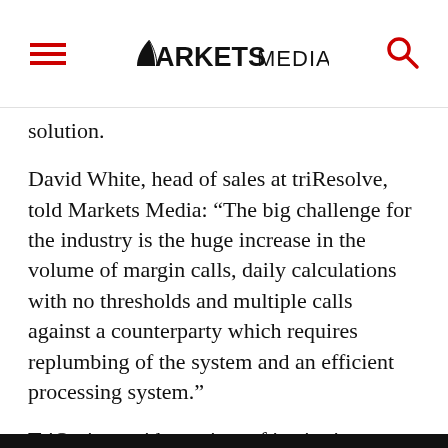MARKETS MEDIA
solution.
David White, head of sales at triResolve, told Markets Media: “The big challenge for the industry is the huge increase in the volume of margin calls, daily calculations with no thresholds and multiple calls against a counterparty which requires replumbing of the system and an efficient processing system.”
TriOptima said a variety of institutions including the buyside and corporates such as Delta Air Lines have signed up to the new web-based collateral management service.